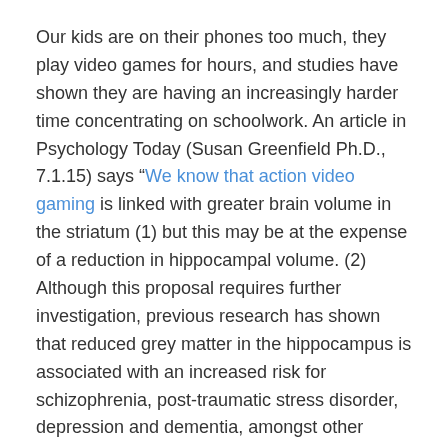Our kids are on their phones too much, they play video games for hours, and studies have shown they are having an increasingly harder time concentrating on schoolwork. An article in Psychology Today (Susan Greenfield Ph.D., 7.1.15) says "We know that action video gaming is linked with greater brain volume in the striatum (1) but this may be at the expense of a reduction in hippocampal volume. (2) Although this proposal requires further investigation, previous research has shown that reduced grey matter in the hippocampus is associated with an increased risk for schizophrenia, post-traumatic stress disorder, depression and dementia, amongst other disorders."
According to the Kaiser Foundation's shocking report, elementary-age children use entertainment technology for an average of 7.5 hours a day.